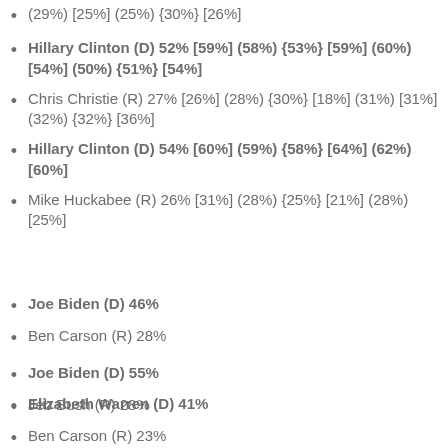(29%) [25%] (25%) {30%} [26%]
Hillary Clinton (D) 52% [59%] (58%) {53%} [59%] (60%) [54%] (50%) {51%} [54%]
Chris Christie (R) 27% [26%] (28%) {30%} [18%] (31%) [31%] (32%) {32%} [36%]
Hillary Clinton (D) 54% [60%] (59%) {58%} [64%] (62%) [60%]
Mike Huckabee (R) 26% [31%] (28%) {25%} [21%] (28%) [25%]
Joe Biden (D) 46%
Ben Carson (R) 28%
Joe Biden (D) 55%
Jeb Bush (R) 28%
Elizabeth Warren (D) 41%
Ben Carson (R) 23%